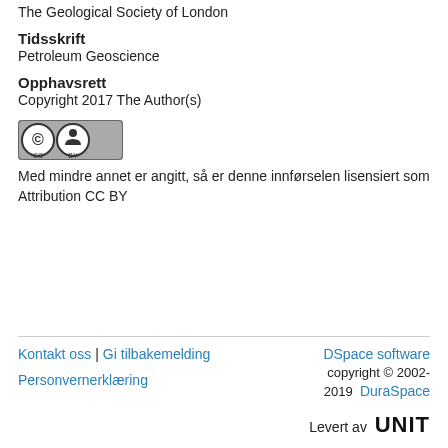The Geological Society of London
Tidsskrift
Petroleum Geoscience
Opphavsrett
Copyright 2017 The Author(s)
[Figure (logo): Creative Commons Attribution (CC BY) license badge icon]
Med mindre annet er angitt, så er denne innførselen lisensiert som Attribution CC BY
Kontakt oss | Gi tilbakemelding
Personvernerklæring
DSpace software copyright © 2002-2019 DuraSpace
Levert av UNIT